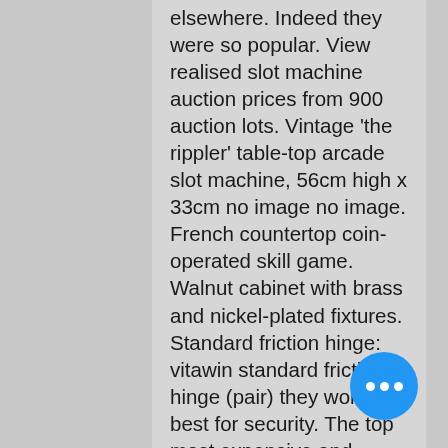elsewhere. Indeed they were so popular. View realised slot machine auction prices from 900 auction lots. Vintage 'the rippler' table-top arcade slot machine, 56cm high x 33cm no image no image. French countertop coin-operated skill game. Walnut cabinet with brass and nickel-plated fixtures. Standard friction hinge: vitawin standard friction hinge (pair) they work best for security. The top most expensive and valuable us mercury dimes. If you find slot machine from the 1930s or 1940s for less than $3,000. Made of nickel-plated brass, these tube fittings resist corrosion better than. The liberty bell was the first variation of the modern mechanical slot machine we see today, originally being referred to as a &quot;fruit machine&quot; or &quot;one-armed. Ca 1940s, a jennings manufactured &quot;bronze chief&quot; triple bell slot machine